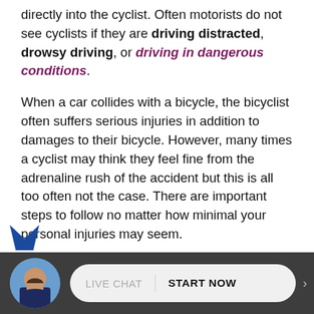directly into the cyclist. Often motorists do not see cyclists if they are driving distracted, drowsy driving, or driving in dangerous conditions.
When a car collides with a bicycle, the bicyclist often suffers serious injuries in addition to damages to their bicycle. However, many times a cyclist may think they feel fine from the adrenaline rush of the accident but this is all too often not the case. There are important steps to follow no matter how minimal your personal injuries may seem.
Steps to Take after a Bicycle Accident
After a bicycle accident, it is highly recommended to call the police and establish an accident report to keep information consistent in the event an insurance claim has to be made. Just like being involved in a car accide... sur...